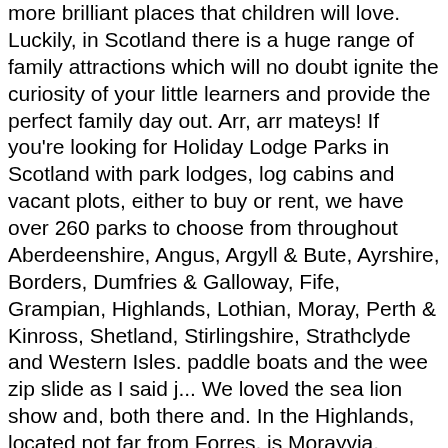more brilliant places that children will love. Luckily, in Scotland there is a huge range of family attractions which will no doubt ignite the curiosity of your little learners and provide the perfect family day out. Arr, arr mateys! If you're looking for Holiday Lodge Parks in Scotland with park lodges, log cabins and vacant plots, either to buy or rent, we have over 260 parks to choose from throughout Aberdeenshire, Angus, Argyll & Bute, Ayrshire, Borders, Dumfries & Galloway, Fife, Grampian, Highlands, Lothian, Moray, Perth & Kinross, Shetland, Stirlingshire, Strathclyde and Western Isles. paddle boats and the wee zip slide as I said j... We loved the sea lion show and, both there and. In the Highlands, located not far from Forres, is Morayvia. 1210.). There's a huge wealth of zoos and wildlife parks across Scotland where children can find their favourite species from all across the globe. Iconic Ben Nevis needs to be top of your Scottish to-do list. Situated just outside Dunbar in East Lothian, East Links has become the premier visitor attraction in South East Scotland. Top Water & Amusement Parks in Scotland: See reviews and photos of theme parks in Scotland, United Kingdom on Tripadvisor. Not far from A place in the Highlands Wildlife Park has to do...